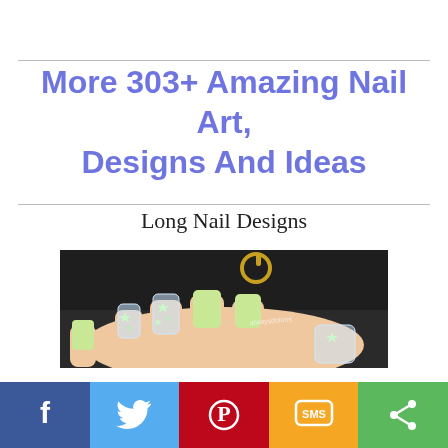More 303+ Amazing Nail Art, Designs And Ideas
Long Nail Designs
[Figure (photo): Close-up photo of long acrylic nails with light green opaque nails and clear nails with holographic star glitter, held near a dark background with a gold keyring visible.]
Facebook | Twitter | Pinterest | SMS | Share